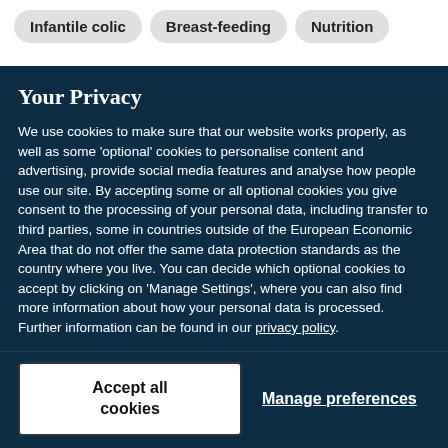Infantile colic
Breast-feeding
Nutrition
Your Privacy
We use cookies to make sure that our website works properly, as well as some 'optional' cookies to personalise content and advertising, provide social media features and analyse how people use our site. By accepting some or all optional cookies you give consent to the processing of your personal data, including transfer to third parties, some in countries outside of the European Economic Area that do not offer the same data protection standards as the country where you live. You can decide which optional cookies to accept by clicking on 'Manage Settings', where you can also find more information about how your personal data is processed. Further information can be found in our privacy policy.
Accept all cookies
Manage preferences